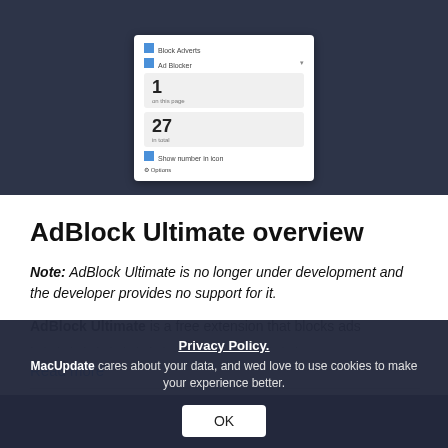[Figure (screenshot): Screenshot of AdBlock Ultimate browser extension UI showing block counts (1 on this page, 27 total) on a dark background]
AdBlock Ultimate overview
Note: AdBlock Ultimate is no longer under development and the developer provides no support for it.
AdBlock Ultimate is a free extension that blocks ads
Read more
What's new in version 1.9.3
Privacy Policy.
MacUpdate cares about your data, and wed love to use cookies to make your experience better.
OK